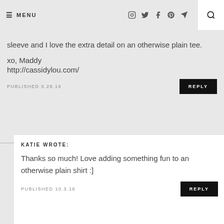≡ MENU  [icons: instagram, twitter, facebook, pinterest, send]  [search]
sleeve and I love the extra detail on an otherwise plain tee.

xo, Maddy
http://cassidylou.com/
PUBLISHED 9.28.16
REPLY
KATIE WROTE:
Thanks so much! Love adding something fun to an otherwise plain shirt :]
PUBLISHED 10.3.16
REPLY